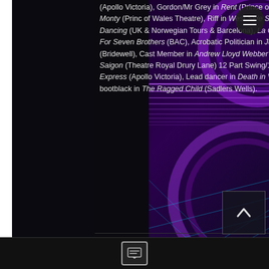(Apollo Victoria), Gordon/Mr Grey in Rent (Prince of Wales Theatre), Bud 'Keno" Walsh in The Full Monty (Princ of Wales Theatre), Riff in West Side Story (UK Tour), Lead Male in An Evening of Dirty Dancing (UK & Norwegian Tours & Barcelona), La Cava (Piccadilly Theatre), Gideon in Seven Brides For Seven Brothers (BAC), Acrobatic Politician in Jumpers (Birmingham Rep), Lewis in Pippin (Bridewell), Cast Member in Andrew Lloyd Webber's 50th Birthday Tribute (Royal Albert Hall), Miss Saigon (Theatre Royal Drury Lane) 12 Part Swing/1st cover Rusty/1st Cover Rocky 2 and 3 in Starlight Express (Apollo Victoria), Lead dancer in Death in Venice (Glyndebourne Festival Opera), Eaves the bootblack in The Ragged Child (Sadlers Wells).
Film & TV
Television appearances include; Rebel Fighter The Hollow Crown (BBC), Trojan